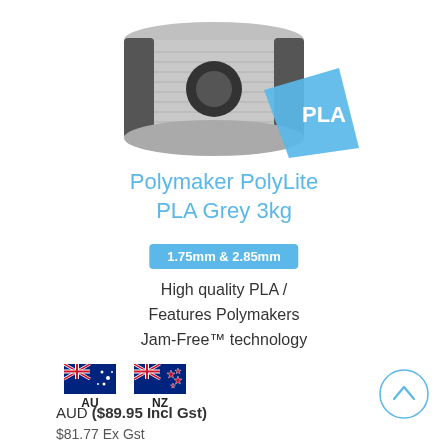[Figure (photo): A grey 3kg spool of Polymaker PolyLite PLA filament with a teal PLA badge on the front right, shown on a white background.]
Polymaker PolyLite PLA Grey 3kg
1.75mm & 2.85mm
High quality PLA / Features Polymakers Jam-Free™ technology
[Figure (illustration): Australian flag icon with label AU and New Zealand flag icon with label NZ side by side]
AUD ($89.95 Incl Gst)
$81.77 Ex Gst